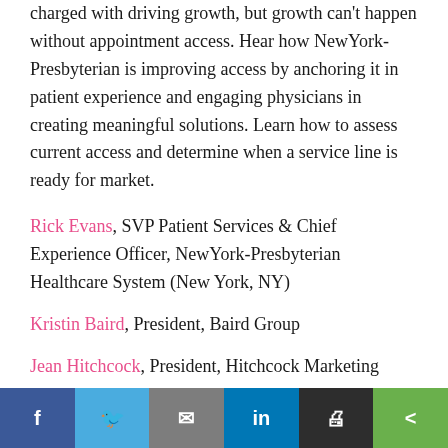charged with driving growth, but growth can't happen without appointment access. Hear how NewYork-Presbyterian is improving access by anchoring it in patient experience and engaging physicians in creating meaningful solutions. Learn how to assess current access and determine when a service line is ready for market.
Rick Evans, SVP Patient Services & Chief Experience Officer, NewYork-Presbyterian Healthcare System (New York, NY)
Kristin Baird, President, Baird Group
Jean Hitchcock, President, Hitchcock Marketing